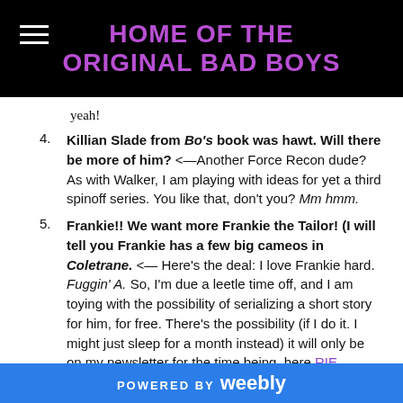HOME OF THE ORIGINAL BAD BOYS
yeah!
Killian Slade from Bo's book was hawt. Will there be more of him? <--Another Force Recon dude? As with Walker, I am playing with ideas for yet a third spinoff series. You like that, don't you? Mm hmm.
Frankie!! We want more Frankie the Tailor! (I will tell you Frankie has a few big cameos in Coletrane. <-- Here's the deal: I love Frankie hard. Fuggin' A. So, I'm due a leetle time off, and I am toying with the possibility of serializing a short story for him, for free. There's the possibility (if I do it. I might just sleep for a month instead) it will only be on my newsletter for the time being, here RIE WARREN NEWSLETTER. So sign up
POWERED BY weebly